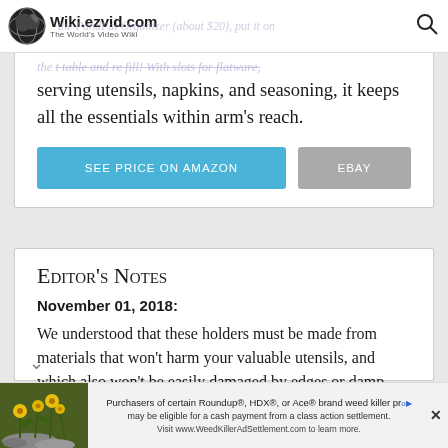Wiki.ezvid.com – The World's Video Wiki
the PandPal Organizer (about $20), put it on the table and refill. With slots for flatware, serving utensils, napkins, and seasoning, it keeps all the essentials within arm's reach.
SEE PRICE ON AMAZON
EBAY
Editor's Notes
November 01, 2018:
We understood that these holders must be made from materials that won't harm your valuable utensils, and which also won't be easily damaged by edges or damp objects. Each selection should
[Figure (screenshot): Advertisement banner at bottom of page for Roundup/HDX/Ace weed killer class action settlement at WeedKillerAdSettlement.com]